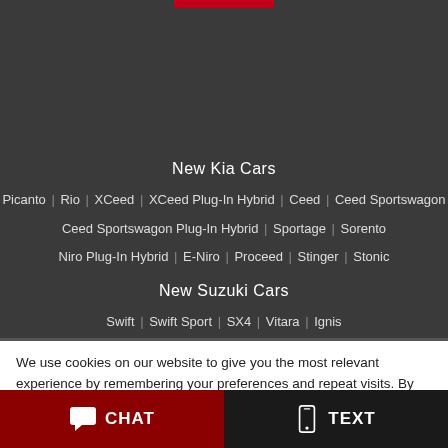New Kia Cars
Picanto | Rio | XCeed | XCeed Plug-In Hybrid | Ceed | Ceed Sportswagon
Ceed Sportswagon Plug-In Hybrid | Sportage | Sorento
Niro Plug-In Hybrid | E-Niro | Proceed | Stinger | Stonic
New Suzuki Cars
Swift | Swift Sport | SX4 | Vitara | Ignis
We use cookies on our website to give you the most relevant experience by remembering your preferences and repeat visits. By clicking “Accept”, you consent to the use of ALL the cookies.
CHAT
TEXT